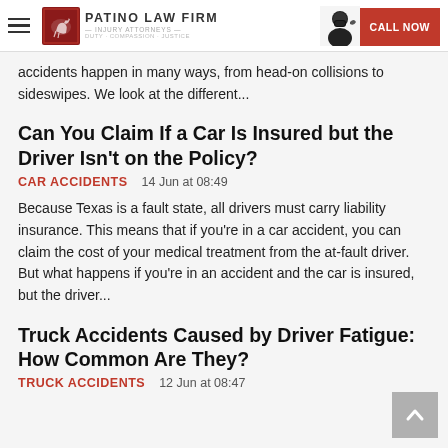Patino Law Firm — Injury Attorneys — Duty Compassion Justice — CALL NOW
accidents happen in many ways, from head-on collisions to sideswipes. We look at the different...
Can You Claim If a Car Is Insured but the Driver Isn't on the Policy?
CAR ACCIDENTS    14 Jun at 08:49
Because Texas is a fault state, all drivers must carry liability insurance. This means that if you're in a car accident, you can claim the cost of your medical treatment from the at-fault driver. But what happens if you're in an accident and the car is insured, but the driver...
Truck Accidents Caused by Driver Fatigue: How Common Are They?
TRUCK ACCIDENTS    12 Jun at 08:47